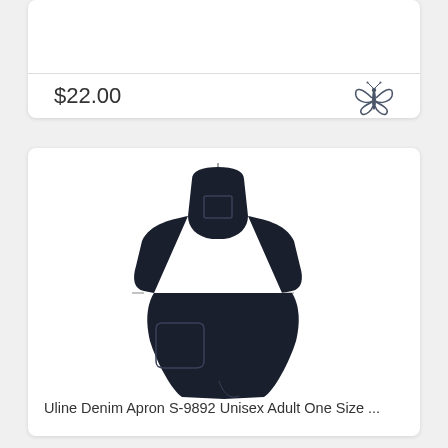$22.00
[Figure (illustration): Butterfly/dragonfly icon in dark blue-gray]
[Figure (photo): Dark navy denim apron with pockets, product photo on white background]
Uline Denim Apron S-9892 Unisex Adult One Size ...